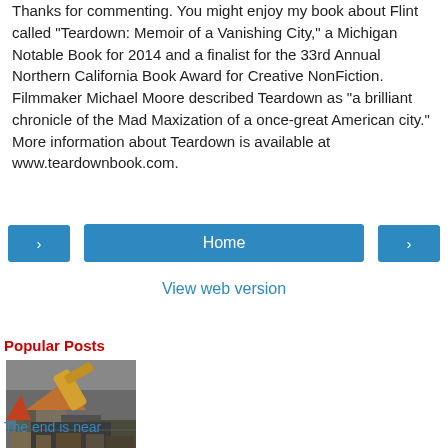Thanks for commenting. You might enjoy my book about Flint called "Teardown: Memoir of a Vanishing City," a Michigan Notable Book for 2014 and a finalist for the 33rd Annual Northern California Book Award for Creative NonFiction. Filmmaker Michael Moore described Teardown as "a brilliant chronicle of the Mad Maxization of a once-great American city." More information about Teardown is available at www.teardownbook.com.
[Figure (other): Navigation buttons: left arrow button, Home button, right arrow button]
View web version
Popular Posts
[Figure (photo): Photo of demolition/teardown scene with construction equipment]
The end is near